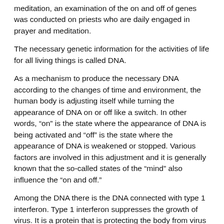meditation, an examination of the on and off of genes was conducted on priests who are daily engaged in prayer and meditation.
The necessary genetic information for the activities of life for all living things is called DNA.
As a mechanism to produce the necessary DNA according to the changes of time and environment, the human body is adjusting itself while turning the appearance of DNA on or off like a switch. In other words, “on” is the state where the appearance of DNA is being activated and “off” is the state where the appearance of DNA is weakened or stopped. Various factors are involved in this adjustment and it is generally known that the so-called states of the “mind” also influence the “on and off.”
Among the DNA there is the DNA connected with type 1 interferon. Type 1 interferon suppresses the growth of virus. It is a protein that is protecting the body from virus by eradicating the infected cells.   The priests are assumed to be activating their DNA for natural immunity. That is because of the religious training to become a priest or the disposition that is acquired and maintained through daily practice.
The most interesting result of this investigation is the di...